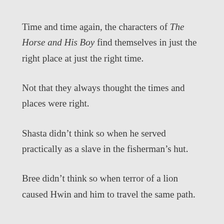Time and time again, the characters of The Horse and His Boy find themselves in just the right place at just the right time.
Not that they always thought the times and places were right.
Shasta didn’t think so when he served practically as a slave in the fisherman’s hut.
Bree didn’t think so when terror of a lion caused Hwin and him to travel the same path.